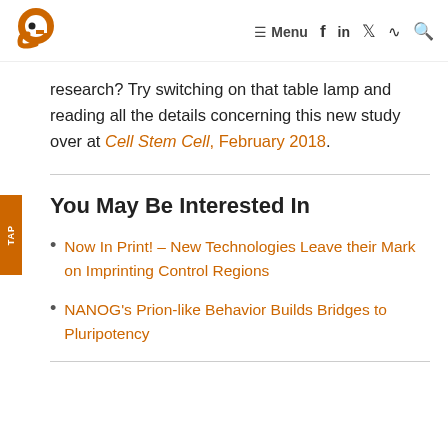[Figure (logo): Genetics Unzipped / GEN logo - stylized orange 'g' letter]
≡ Menu  f  in  𝕏  ⊃  🔍
research? Try switching on that table lamp and reading all the details concerning this new study over at Cell Stem Cell, February 2018.
You May Be Interested In
Now In Print! – New Technologies Leave their Mark on Imprinting Control Regions
NANOG's Prion-like Behavior Builds Bridges to Pluripotency